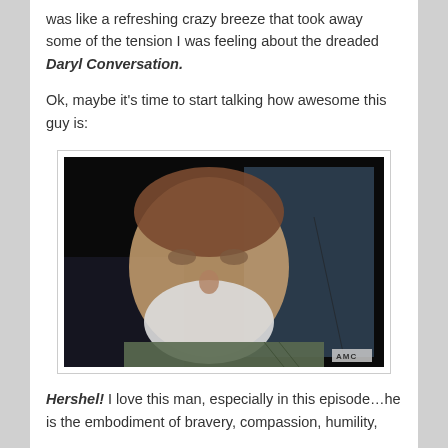was like a refreshing crazy breeze that took away some of the tension I was feeling about the dreaded Daryl Conversation.
Ok, maybe it's time to start talking how awesome this guy is:
[Figure (photo): A screenshot of an older bearded man with white beard and hair, seated inside a vehicle, likely from a TV show. An AMC logo watermark appears in the bottom right corner.]
Hershel! I love this man, especially in this episode…he is the embodiment of bravery, compassion, humility,